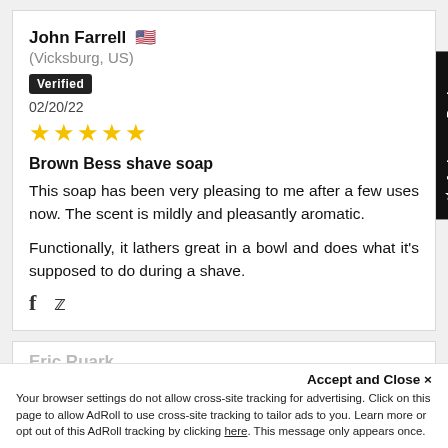John Farrell 🇺🇸
(Vicksburg, US)
Verified
02/20/22
★★★★★ (5 stars)
Brown Bess shave soap
This soap has been very pleasing to me after a few uses now. The scent is mildly and pleasantly aromatic.
Functionally, it lathers great in a bowl and does what it's supposed to do during a shave.
Eric Ruark
Accept and Close ✕
Your browser settings do not allow cross-site tracking for advertising. Click on this page to allow AdRoll to use cross-site tracking to tailor ads to you. Learn more or opt out of this AdRoll tracking by clicking here. This message only appears once.